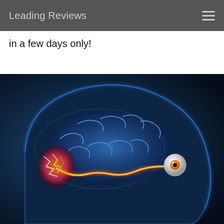Leading Reviews
in a few days only!
[Figure (illustration): Medical illustration showing a side-profile view of a human head with a transparent blue skull revealing the brain. An orange glowing neural pathway (optic nerve) connects from the eye (shown as a white/gray orb on the right side) through the brain to the visual cortex on the left side, which is highlighted in orange and red/magenta with white lightning-like electrical signals. The brain is rendered in deep blue with glowing blue highlights. The background is dark blue.]